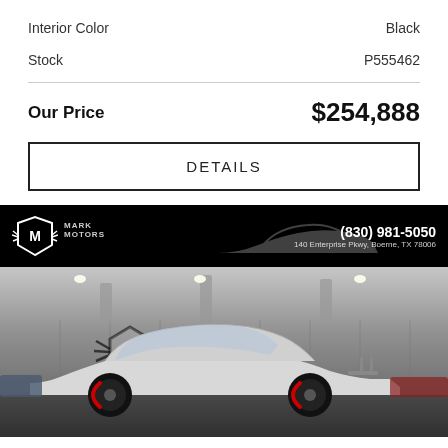Interior Color    Black
Stock    P555462
Our Price    $254,888
DETAILS
[Figure (photo): Mark Motors dealership banner with logo, phone (830) 981-5050, address 140 Enterprise Pkwy, Boerne, TX 78006, and a silhouette of a sports car on black background]
[Figure (photo): Silver Porsche 911 GT3 RS parked in a garage/showroom with the Mark Motors winged shield logo on the wall behind it. The car has black wheels with red brake calipers.]